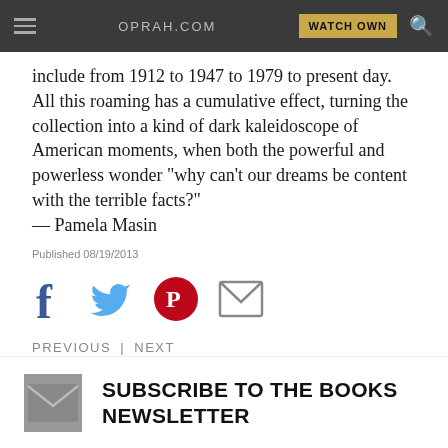OPRAH.COM  WATCH OWN
include from 1912 to 1947 to 1979 to present day. All this roaming has a cumulative effect, turning the collection into a kind of dark kaleidoscope of American moments, when both the powerful and powerless wonder "why can't our dreams be content with the terrible facts?"
— Pamela Masin
Published 08/19/2013
[Figure (infographic): Social sharing icons: Facebook (f), Twitter (bird), Pinterest (P circle), Email (envelope)]
PREVIOUS | NEXT
SUBSCRIBE TO THE BOOKS NEWSLETTER